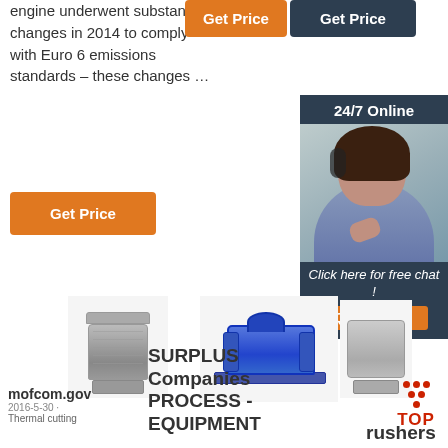engine underwent substantial changes in 2014 to comply with Euro 6 emissions standards – these changes …
[Figure (other): Orange 'Get Price' button]
[Figure (other): Orange 'Get Price' button (top right)]
[Figure (other): Orange 'Get Price' button (bottom left)]
[Figure (illustration): 24/7 online chat widget with photo of woman with headset, 'Click here for free chat!' text and QUOTATION button]
[Figure (photo): Sieve / lab equipment product image]
[Figure (photo): Blue industrial crusher machine product image]
[Figure (photo): Grey industrial machine product image]
[Figure (logo): TOP icon with red dots forming triangle and word TOP]
mofcom.gov
2016-5-30  ·
Thermal cutting
SURPLUS Companies PROCESS - EQUIPMENT
Crushers